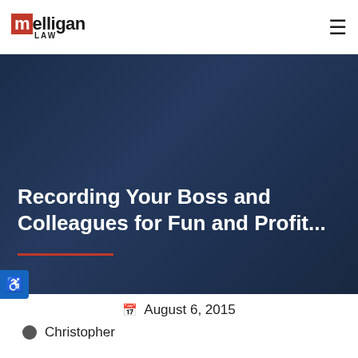[Figure (logo): Melligan Law logo — red 'm' square followed by 'elligan' in bold black, with 'LAW' in small caps below]
Recording Your Boss and Colleagues for Fun and Profit...
August 6, 2015
Christopher